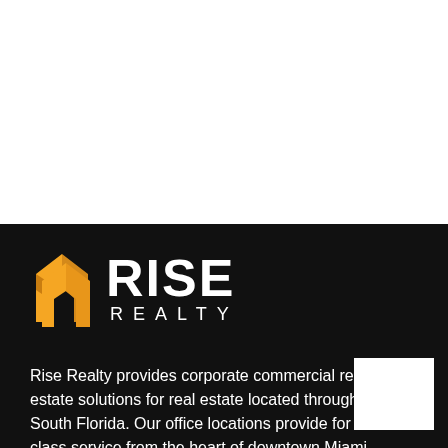[Figure (logo): Rise Realty logo — orange stylized building/arrow icon on the left, with 'RISE' in large bold white text and 'REALTY' in spaced white text below, on a black background]
Rise Realty provides corporate commercial real estate solutions for real estate located throughout South Florida. Our office locations provide for first class service from the heart of downtown Miami.